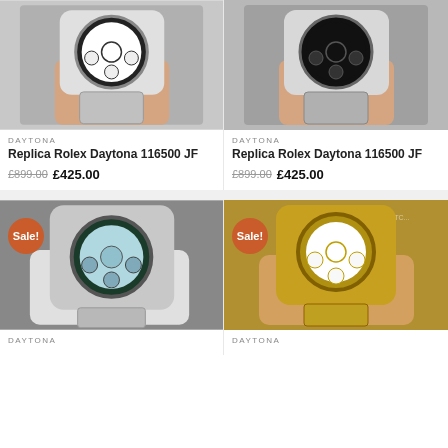[Figure (photo): Hand holding a Replica Rolex Daytona 116500 watch with white/black dial, steel bracelet, ceramic bezel]
[Figure (photo): Hand holding a Replica Rolex Daytona 116500 watch with black dial, steel bracelet, ceramic bezel]
DAYTONA
Replica Rolex Daytona 116500 JF
£899.00 £425.00
DAYTONA
Replica Rolex Daytona 116500 JF
£899.00 £425.00
[Figure (photo): Hand in white glove holding Replica Rolex Daytona with ice blue dial, brown/black ceramic bezel, Sale! badge]
[Figure (photo): Hand holding Replica Rolex Daytona in full yellow gold with white dial, Sale! badge, watermark]
DAYTONA
DAYTONA